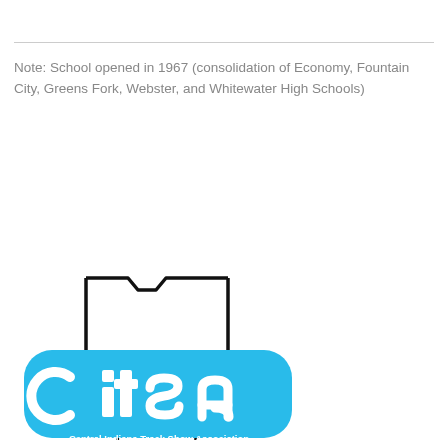Note: School opened in 1967 (consolidation of Economy, Fountain City, Greens Fork, Webster, and Whitewater High Schools)
[Figure (logo): CITSA logo — Central Indiana Track Show Association. A cyan/blue rounded rectangle badge with large bold 'citsa' lettering and 'Central Indiana Track Show Association' text below, overlaid on an outline of what appears to be a county or state map shape.]